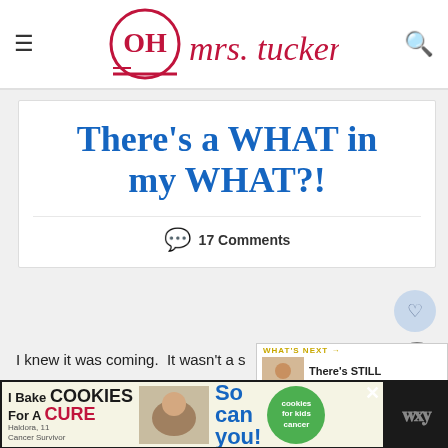Oh Mrs. Tucker! — site header with hamburger menu and search icon
There's a WHAT in my WHAT?!
💬 17 Comments
I knew it was coming.  It wasn't a s…
[Figure (screenshot): What's Next panel showing thumbnail and title: There's STILL a What in M…]
[Figure (screenshot): Ad banner: I Bake COOKIES For A CURE — Haldora, 11 Cancer Survivor — So can you! — cookies for kids cancer]